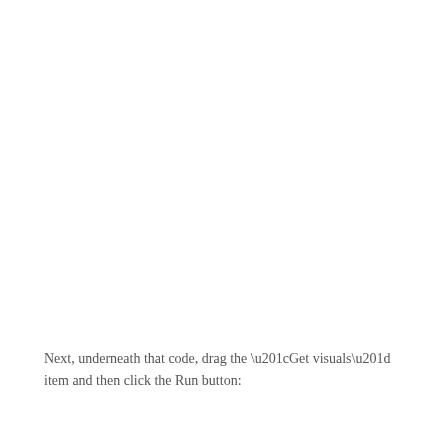Next, underneath that code, drag the “Get visuals” item and then click the Run button: